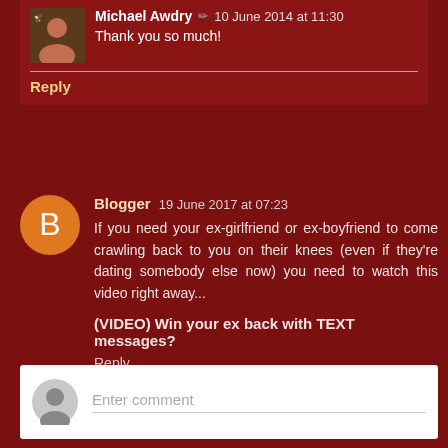Michael Awdry · 10 June 2014 at 11:30
Thank you so much!
Reply
Blogger  19 June 2017 at 07:23
If you need your ex-girlfriend or ex-boyfriend to come crawling back to you on their knees (even if they're dating somebody else now) you need to watch this video right away...
(VIDEO) Win your ex back with TEXT messages?
Reply
Enter comment